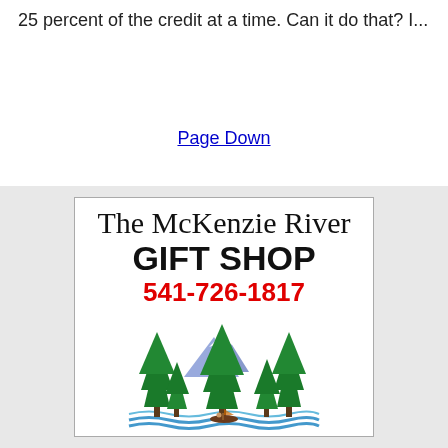25 percent of the credit at a time. Can it do that? I...
Page Down
[Figure (logo): The McKenzie River GIFT SHOP advertisement with script logo, phone number 541-726-1817, and illustration of evergreen trees, mountains, and a river with a small boat.]